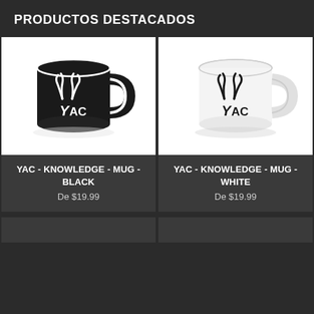PRODUCTOS DESTACADOS
[Figure (photo): Black coffee mug with YAC logo (curved horns and YAC text in white on black background)]
YAC - KNOWLEDGE - MUG - BLACK
De $19.99
[Figure (photo): White coffee mug with YAC logo (curved horns and YAC text in black on white background)]
YAC - KNOWLEDGE - MUG - WHITE
De $19.99